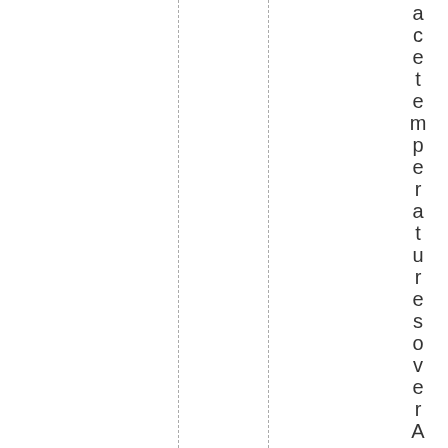ace temperatures over Australia